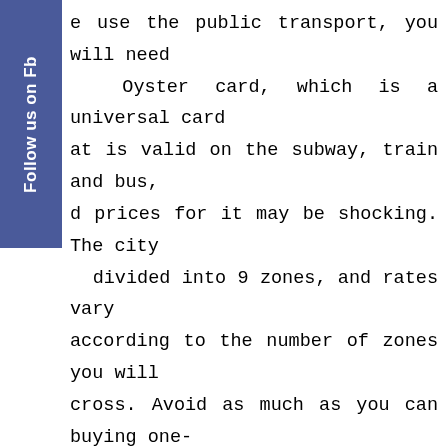e use the public transport, you will need Oyster card, which is a universal card at is valid on the subway, train and bus, d prices for it may be shocking. The city divided into 9 zones, and rates vary according to the number of zones you will cross. Avoid as much as you can buying one-time use tickets, they are the most expensive with rates starting from 5 pounds per trip. Better buy daily or weekly passes. To reach our hotel located in zone 4, we bought 2 weekly passes with unlimited trips valid in areas 1 to 4 for which we paid “only” 108